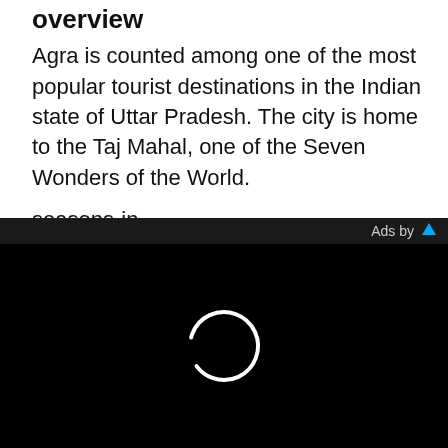overview
Agra is counted among one of the most popular tourist destinations in the Indian state of Uttar Pradesh. The city is home to the Taj Mahal, one of the Seven Wonders of the World.
seasons-in
winters-in
Winter in Agra begins from November and lasts till mid-
[Figure (screenshot): Black ad overlay with loading spinner circle in white and 'Ads by' text with blue triangle icon]
Ads by